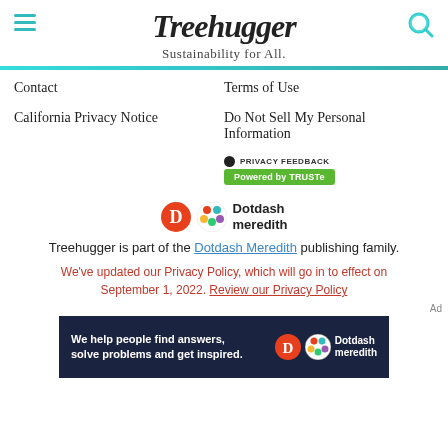Treehugger
Sustainability for All.
Contact
Terms of Use
California Privacy Notice
Do Not Sell My Personal Information
[Figure (logo): TRUSTe Privacy Feedback badge with green Powered by TRUSTe button]
[Figure (logo): Dotdash Meredith logo]
Treehugger is part of the Dotdash Meredith publishing family.
We've updated our Privacy Policy, which will go in to effect on September 1, 2022. Review our Privacy Policy
[Figure (other): Dotdash Meredith ad banner: We help people find answers, solve problems and get inspired.]